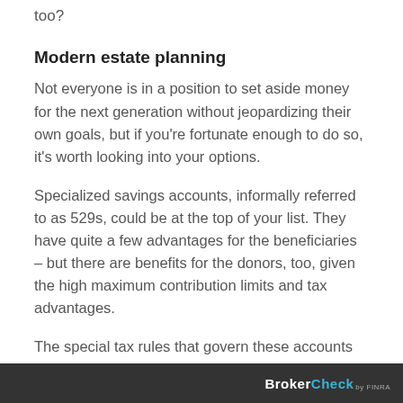too?
Modern estate planning
Not everyone is in a position to set aside money for the next generation without jeopardizing their own goals, but if you're fortunate enough to do so, it's worth looking into your options.
Specialized savings accounts, informally referred to as 529s, could be at the top of your list. They have quite a few advantages for the beneficiaries – but there are benefits for the donors, too, given the high maximum contribution limits and tax advantages.
The special tax rules that govern these accounts allows you to pare down your taxable estate, potentially minimizing future federal gift and estate taxes. Right now,
BrokerCheck FINRA